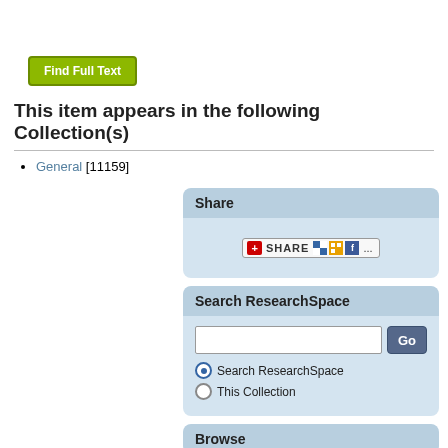Find Full Text
This item appears in the following Collection(s)
General [11159]
Share
[Figure (screenshot): Share widget with icons for AddThis, Delicious, social bookmarking, and Facebook]
Search ResearchSpace
Search input field with Go button, radio options: Search ResearchSpace (selected), This Collection
Browse